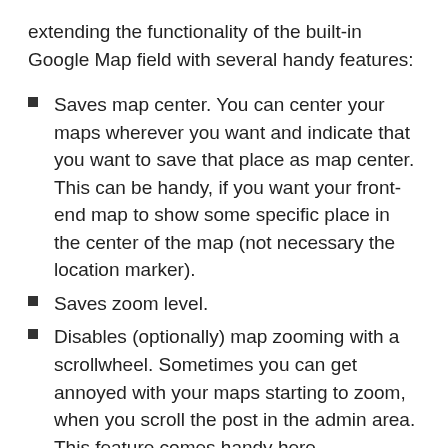extending the functionality of the built-in Google Map field with several handy features:
Saves map center. You can center your maps wherever you want and indicate that you want to save that place as map center. This can be handy, if you want your front-end map to show some specific place in the center of the map (not necessary the location marker).
Saves zoom level.
Disables (optionally) map zooming with a scrollwheel. Sometimes you can get annoyed with your maps starting to zoom, when you scroll the post in the admin area. This feature comes handy here.
Shows location coordinates. It is easy to get any place's location coordinates (latitude and longitude) with this plugin by setting a marker to the place you need using user friendly map